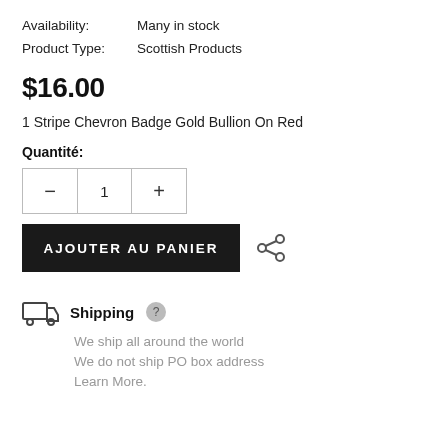Availability:   Many in stock
Product Type:   Scottish Products
$16.00
1 Stripe Chevron Badge Gold Bullion On Red
Quantité:
— 1 +
AJOUTER AU PANIER
Shipping
We ship all around the world
We do not ship PO box address
Learn More.